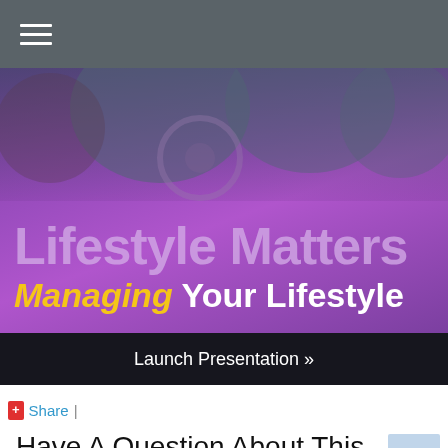[Figure (screenshot): Navigation bar with hamburger menu icon on dark grey background]
[Figure (illustration): Hero banner with purple gradient background and car interior photo overlay showing 'Lifestyle Matters' in large light purple text and 'Managing Your Lifestyle' in white with yellow italic 'Managing']
Launch Presentation »
+ Share |
Have A Question About This Topic?
Name